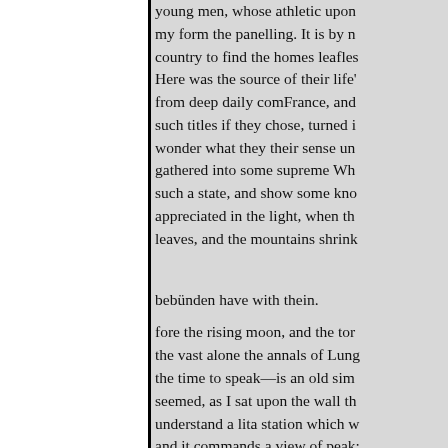young men, whose athletic upon my form the panelling. It is by n country to find the homes leafles Here was the source of their life' from deep daily comFrance, and such titles if they chose, turned i wonder what they their sense un gathered into some supreme Wh such a state, and show some kno appreciated in the light, when th leaves, and the mountains shrink
bebünden have with thein.
fore the rising moon, and the tor the vast alone the annals of Lung the time to speak—is an old sim seemed, as I sat upon the wall th understand a lita station which w and it commands a view of peak: which even I dearly love. I felt w had thrown their lives only chur surveys. The tolling of its bell br